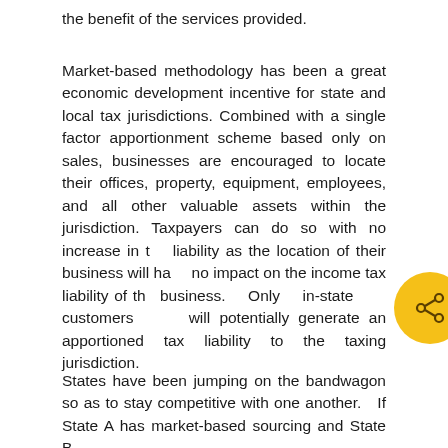the benefit of the services provided.
Market-based methodology has been a great economic development incentive for state and local tax jurisdictions. Combined with a single factor apportionment scheme based only on sales, businesses are encouraged to locate their offices, property, equipment, employees, and all other valuable assets within the jurisdiction. Taxpayers can do so with no increase in tax liability as the location of their business will have no impact on the income tax liability of the business. Only in-state customers will potentially generate an apportioned tax liability to the taxing jurisdiction.
States have been jumping on the bandwagon so as to stay competitive with one another. If State A has market-based sourcing and State B